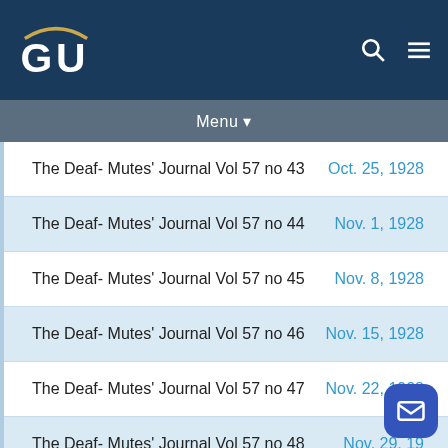[Figure (logo): Gallaudet University GU logo in white on dark blue header background]
Menu
The Deaf- Mutes' Journal Vol 57 no 43 | Oct. 25, 1928
The Deaf- Mutes' Journal Vol 57 no 44 | Nov. 1, 1928
The Deaf- Mutes' Journal Vol 57 no 45 | Nov. 8, 1928
The Deaf- Mutes' Journal Vol 57 no 46 | Nov. 15, 1928
The Deaf- Mutes' Journal Vol 57 no 47 | Nov. 22, 1928
The Deaf- Mutes' Journal Vol 57 no 48 | Nov. 29, 1928